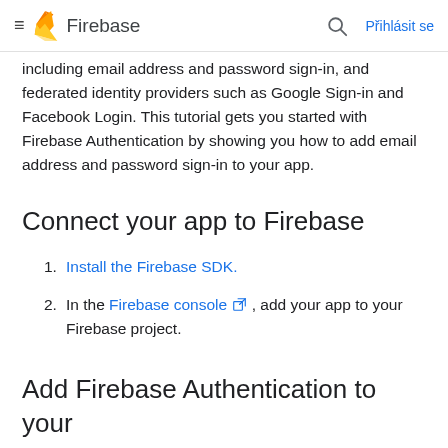Firebase
including email address and password sign-in, and federated identity providers such as Google Sign-in and Facebook Login. This tutorial gets you started with Firebase Authentication by showing you how to add email address and password sign-in to your app.
Connect your app to Firebase
Install the Firebase SDK.
In the Firebase console, add your app to your Firebase project.
Add Firebase Authentication to your